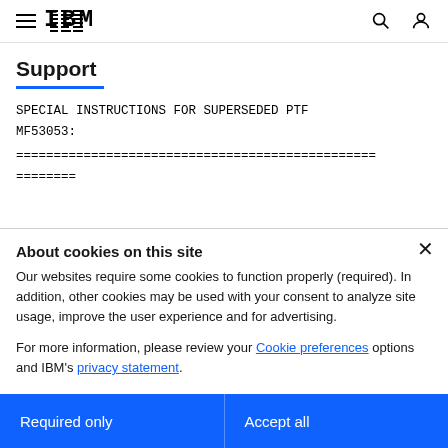IBM navigation bar with hamburger menu, IBM logo, search icon, user icon
Support
SPECIAL INSTRUCTIONS FOR SUPERSEDED PTF MF53053:
================================================ ========
About cookies on this site
Our websites require some cookies to function properly (required). In addition, other cookies may be used with your consent to analyze site usage, improve the user experience and for advertising.
For more information, please review your Cookie preferences options and IBM's privacy statement.
Required only
Accept all